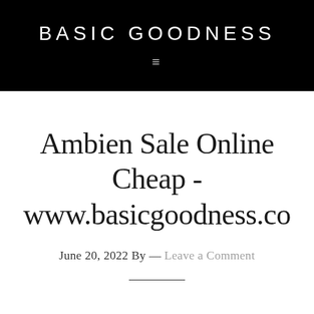BASIC GOODNESS
Ambien Sale Online Cheap - www.basicgoodness.co
June 20, 2022 By — Leave a Comment